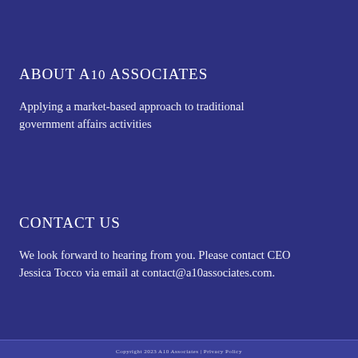ABOUT A10 ASSOCIATES
Applying a market-based approach to traditional government affairs activities
CONTACT US
We look forward to hearing from you. Please contact CEO Jessica Tocco via email at contact@a10associates.com.
Copyright 2023 A10 Associates | Privacy Policy